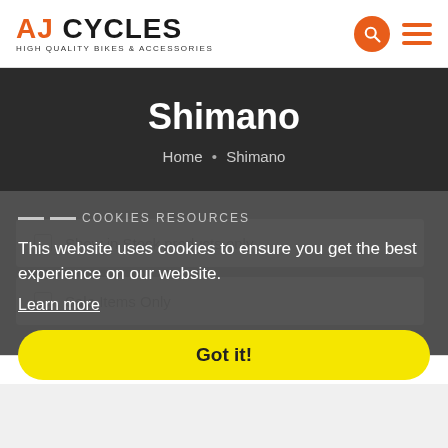AJ CYCLES - HIGH QUALITY BIKES & ACCESSORIES
Shimano
Home • Shimano
This website uses cookies to ensure you get the best experience on our website. Learn more
Show in Stock products only
Sale Items Only
Got it!